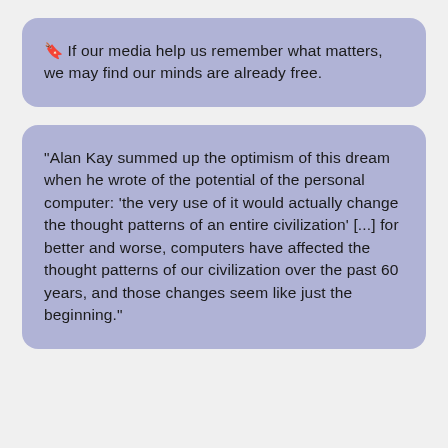🔖 If our media help us remember what matters, we may find our minds are already free.
"Alan Kay summed up the optimism of this dream when he wrote of the potential of the personal computer: 'the very use of it would actually change the thought patterns of an entire civilization' [...] for better and worse, computers have affected the thought patterns of our civilization over the past 60 years, and those changes seem like just the beginning."